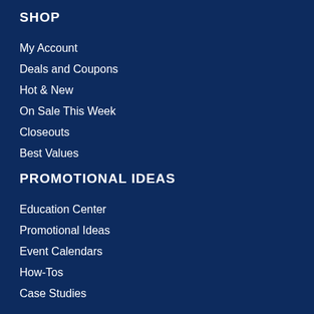SHOP
My Account
Deals and Coupons
Hot & New
On Sale This Week
Closeouts
Best Values
PROMOTIONAL IDEAS
Education Center
Promotional Ideas
Event Calendars
How-Tos
Case Studies
ABOUT EPROMOS
Our Services